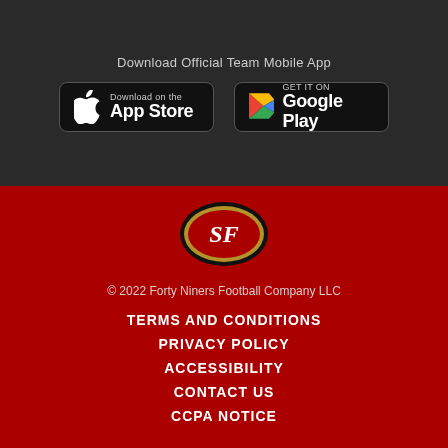Download Official Team Mobile App
[Figure (logo): App Store download button with Apple logo]
[Figure (logo): Google Play download button with Play logo]
[Figure (logo): San Francisco 49ers team logo - SF oval emblem with black and gold border]
© 2022 Forty Niners Football Company LLC
TERMS AND CONDITIONS
PRIVACY POLICY
ACCESSIBILITY
CONTACT US
CCPA NOTICE